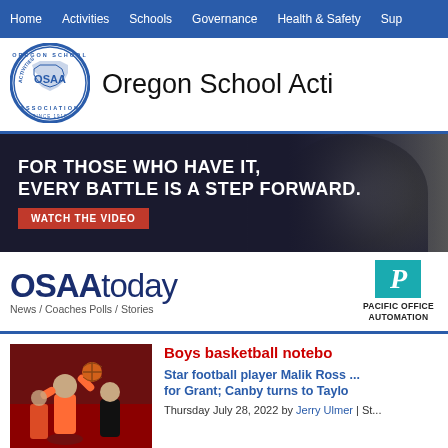Home | Activities | Schools | Governance | Health & Safety | Sup...
[Figure (logo): OSAA Oregon School Activities Association circular seal logo]
Oregon School Acti...
[Figure (photo): Advertisement banner: FOR THOSE WHO HAVE IT, EVERY BATTLE IS A STEP FORWARD. WATCH THE VIDEO button. Background shows athletic imagery.]
[Figure (logo): OSAA today - News / Coaches Polls / Stories logo]
[Figure (logo): Pacific Office Automation logo]
[Figure (photo): Basketball action photo - player shooting]
Boys basketball notebo...
Star football player Malik Ross ... for Grant; Canby turns to Taylo...
Thursday July 28, 2022 by Jerry Ulmer | St...